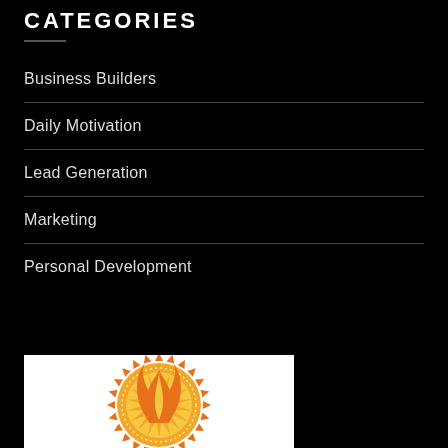CATEGORIES
Business Builders
Daily Motivation
Lead Generation
Marketing
Personal Development
[Figure (logo): Orange flame with sunburst badge logo on white background]